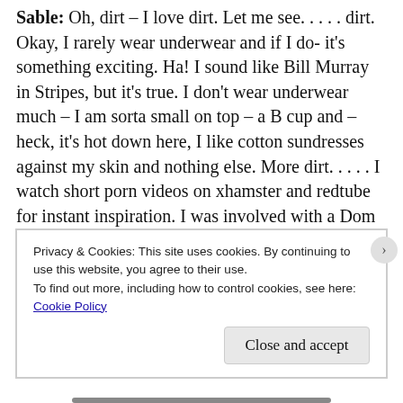Sable: Oh, dirt – I love dirt. Let me see. . . . . dirt. Okay, I rarely wear underwear and if I do- it's something exciting. Ha! I sound like Bill Murray in Stripes, but it's true. I don't wear underwear much – I am sorta small on top – a B cup and – heck, it's hot down here, I like cotton sundresses against my skin and nothing else. More dirt. . . . . I watch short porn videos on xhamster and redtube for instant inspiration.  I was involved with a Dom for awhile in New York. He taught me everything I needed to know to write BADASS. His name was Bob and he wanted to walk me around New York on a leash, but I balked at that. Is that enough dirt? I'll save some
Privacy & Cookies: This site uses cookies. By continuing to use this website, you agree to their use.
To find out more, including how to control cookies, see here:
Cookie Policy
Close and accept